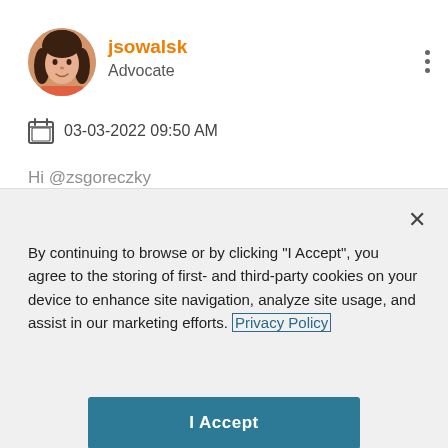[Figure (photo): Circular profile photo of a woman with dark curly hair, wearing a pink/coral top]
jsowalsk
Advocate
03-03-2022 09:50 AM
Hi @zsgoreczky
By continuing to browse or by clicking "I Accept", you agree to the storing of first- and third-party cookies on your device to enhance site navigation, analyze site usage, and assist in our marketing efforts. Privacy Policy
I Accept
Cookies Settings